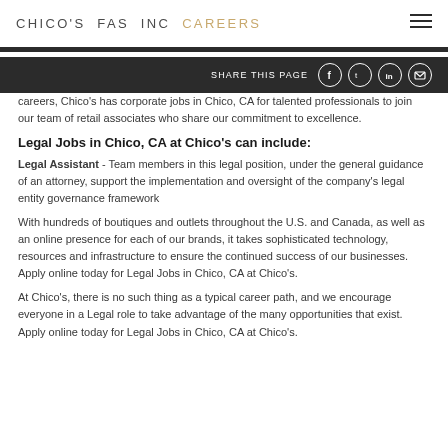CHICO'S FAS INC CAREERS
SHARE THIS PAGE
careers, Chico's has corporate jobs in Chico, CA for talented professionals to join our team of retail associates who share our commitment to excellence.
Legal Jobs in Chico, CA at Chico's can include:
Legal Assistant - Team members in this legal position, under the general guidance of an attorney, support the implementation and oversight of the company's legal entity governance framework
With hundreds of boutiques and outlets throughout the U.S. and Canada, as well as an online presence for each of our brands, it takes sophisticated technology, resources and infrastructure to ensure the continued success of our businesses. Apply online today for Legal Jobs in Chico, CA at Chico's.
At Chico's, there is no such thing as a typical career path, and we encourage everyone in a Legal role to take advantage of the many opportunities that exist. Apply online today for Legal Jobs in Chico, CA at Chico's.